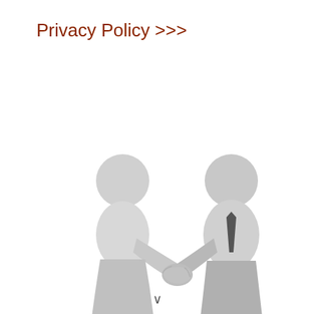Privacy Policy >>>
[Figure (illustration): Two 3D white figurines shaking hands, one on the left wearing no clothing and one on the right wearing a dark tie, depicted on a white background.]
∨